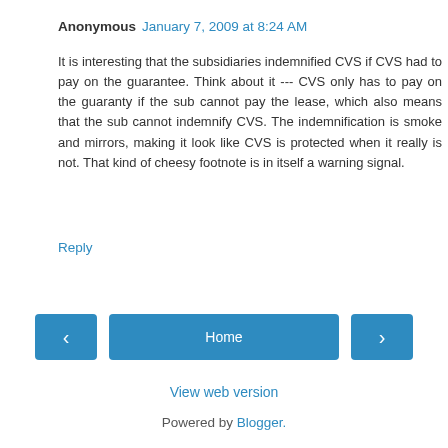Anonymous  January 7, 2009 at 8:24 AM
It is interesting that the subsidiaries indemnified CVS if CVS had to pay on the guarantee. Think about it --- CVS only has to pay on the guaranty if the sub cannot pay the lease, which also means that the sub cannot indemnify CVS. The indemnification is smoke and mirrors, making it look like CVS is protected when it really is not. That kind of cheesy footnote is in itself a warning signal.
Reply
Home  View web version  Powered by Blogger.